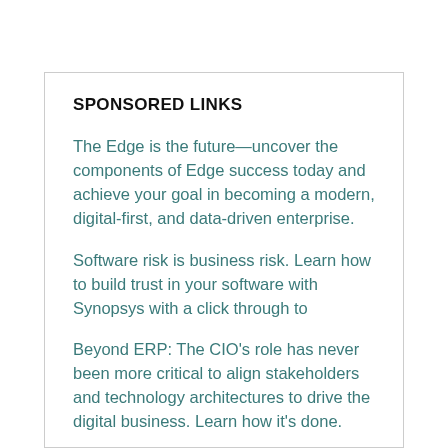SPONSORED LINKS
The Edge is the future—uncover the components of Edge success today and achieve your goal in becoming a modern, digital-first, and data-driven enterprise.
Software risk is business risk. Learn how to build trust in your software with Synopsys with a click through to
Beyond ERP: The CIO's role has never been more critical to align stakeholders and technology architectures to drive the digital business. Learn how it's done.
CIS Webinar: Effective implementation of the CIS